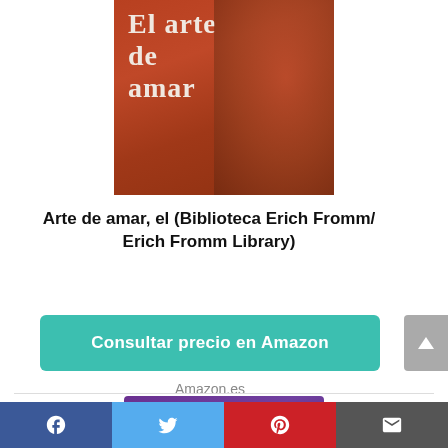[Figure (photo): Book cover of 'El arte de amar' - orange/red toned cover showing text and a face silhouette]
Arte de amar, el (Biblioteca Erich Fromm/ Erich Fromm Library)
Consultar precio en Amazon
Amazon.es
[Figure (photo): Second product image with purple background and yellow stylized text]
Social sharing bar with Facebook, Twitter, Pinterest, and Email icons